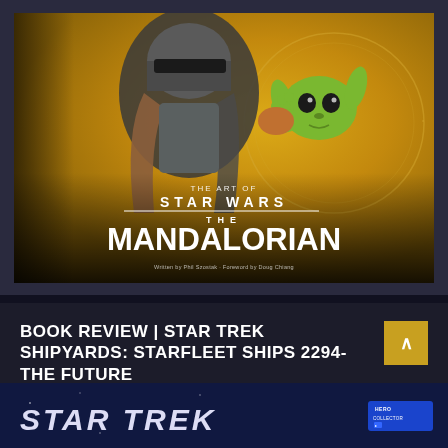[Figure (illustration): Book cover of 'The Art of Star Wars: The Mandalorian' showing the Mandalorian in grey beskar armor holding Baby Yoda (Grogu) against a golden/yellow background with circular design elements. Text reads: THE ART OF / STAR WARS / THE / MANDALORIAN / Written by Phil Szostak · Foreword by Doug Chiang]
BOOK REVIEW | STAR TREK SHIPYARDS: STARFLEET SHIPS 2294-THE FUTURE
[Figure (screenshot): Partial preview of next article showing Star Trek title text on dark blue background with HERO Collector logo badge on the right]